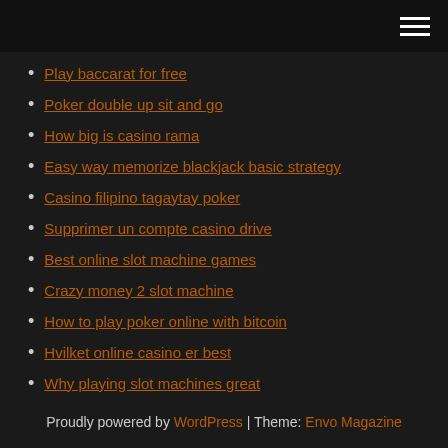hamburger menu icon
Play baccarat for free
Poker double up sit and go
How big is casino rama
Easy way memorize blackjack basic strategy
Casino filipino tagaytay poker
Supprimer un compte casino drive
Best online slot machine games
Crazy money 2 slot machine
How to play poker online with bitcoin
Hvilket online casino er best
Why playing slot machines great
Proudly powered by WordPress | Theme: Envo Magazine